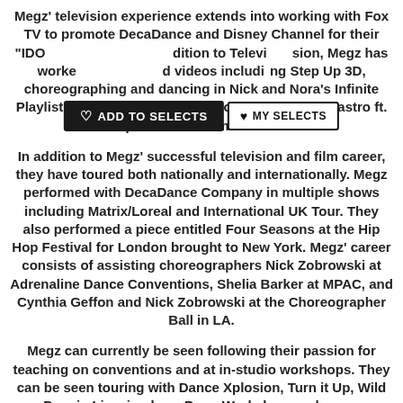Megz' television experience extends into working with Fox TV to promote DecaDance and Disney Channel for their "IDO [ADD TO SELECTS] [MY SELECTS] dition to Television, Megz has worked [videos including] Step Up 3D, choreographing and dancing in Nick and Nora's Infinite Playlist, and Beauty and a Beat (cover) by David Castro ft. Raquel Castro from The Voice.
In addition to Megz' successful television and film career, they have toured both nationally and internationally. Megz performed with DecaDance Company in multiple shows including Matrix/Loreal and International UK Tour. They also performed a piece entitled Four Seasons at the Hip Hop Festival for London brought to New York. Megz' career consists of assisting choreographers Nick Zobrowski at Adrenaline Dance Conventions, Shelia Barker at MPAC, and Cynthia Geffon and Nick Zobrowski at the Choreographer Ball in LA.
Megz can currently be seen following their passion for teaching on conventions and at in-studio workshops. They can be seen touring with Dance Xplosion, Turn it Up, Wild Dancin Live, in-class, Prep, Workshop, and more.